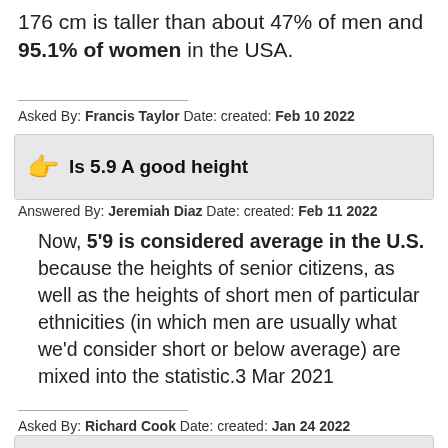176 cm is taller than about 47% of men and 95.1% of women in the USA.
Asked By: Francis Taylor Date: created: Feb 10 2022
Is 5.9 A good height
Answered By: Jeremiah Diaz Date: created: Feb 11 2022
Now, 5'9 is considered average in the U.S. because the heights of senior citizens, as well as the heights of short men of particular ethnicities (in which men are usually what we'd consider short or below average) are mixed into the statistic.3 Mar 2021
Asked By: Richard Cook Date: created: Jan 24 2022
Is 5ft 9 tall